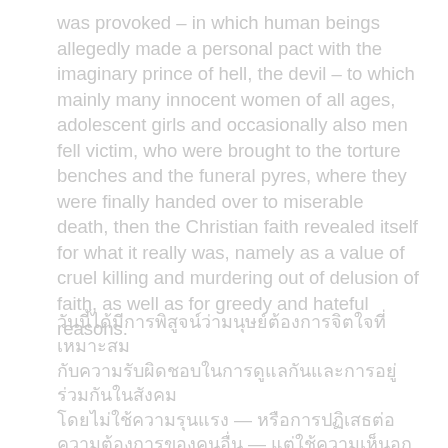was provoked – in which human beings allegedly made a personal pact with the imaginary prince of hell, the devil – to which mainly many innocent women of all ages, adolescent girls and occasionally also men fell victim, who were brought to the torture benches and the funeral pyres, where they were finally handed over to miserable death, then the Christian faith revealed itself for what it really was, namely as a value of cruel killing and murdering out of delusion of faith, as well as for greedy and hateful reasons.
[Text in non-Latin script, appears to be Thai or similar language — multiple lines with em-dashes — content not transcribable]